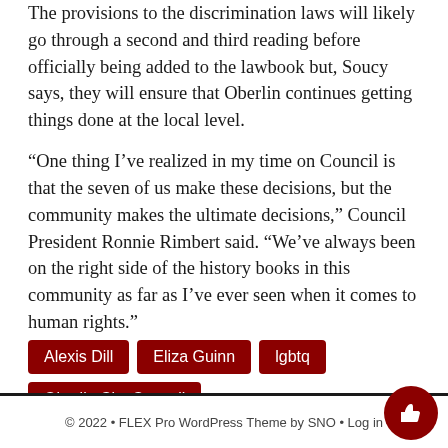The provisions to the discrimination laws will likely go through a second and third reading before officially being added to the lawbook but, Soucy says, they will ensure that Oberlin continues getting things done at the local level.
“One thing I’ve realized in my time on Council is that the seven of us make these decisions, but the community makes the ultimate decisions,” Council President Ronnie Rimbert said. “We’ve always been on the right side of the history books in this community as far as I’ve ever seen when it comes to human rights.”
Alexis Dill
Eliza Guinn
lgbtq
Oberlin City Council
© 2022 • FLEX Pro WordPress Theme by SNO • Log in